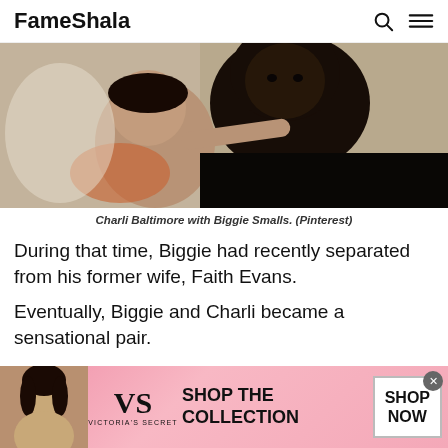FameShala
[Figure (photo): Charli Baltimore with Biggie Smalls, a black and white casual photo of two people together]
Charli Baltimore with Biggie Smalls. (Pinterest)
During that time, Biggie had recently separated from his former wife, Faith Evans.
Eventually, Biggie and Charli became a sensational pair.
[Figure (infographic): Victoria's Secret advertisement banner: model photo on left, VS logo, text SHOP THE COLLECTION, SHOP NOW button]